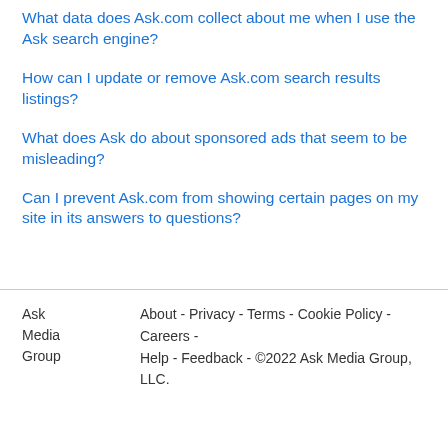What data does Ask.com collect about me when I use the Ask search engine?
How can I update or remove Ask.com search results listings?
What does Ask do about sponsored ads that seem to be misleading?
Can I prevent Ask.com from showing certain pages on my site in its answers to questions?
Ask Media Group   About - Privacy - Terms - Cookie Policy - Careers - Help - Feedback - ©2022 Ask Media Group, LLC.